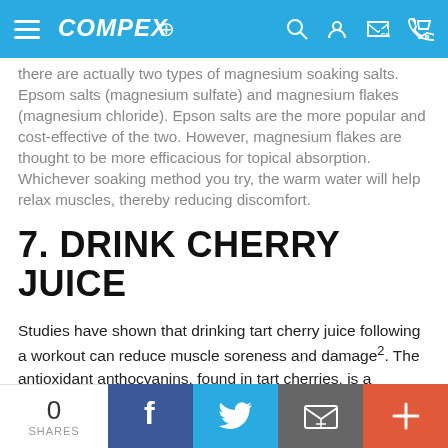COMPEX
there are actually two types of magnesium soaking salts. Epsom salts (magnesium sulfate) and magnesium flakes (magnesium chloride). Epson salts are the more popular and cost-effective of the two. However, magnesium flakes are thought to be more efficacious for topical absorption. Whichever soaking method you try, the warm water will help relax muscles, thereby reducing discomfort.
7. DRINK CHERRY JUICE
Studies have shown that drinking tart cherry juice following a workout can reduce muscle soreness and damage2. The antioxidant anthocyanins, found in tart cherries, is a powerful anti-inflammatory that reduces swelling and discomfort in over-worked muscles. You can
0 SHARES | Facebook | Twitter | Email | +